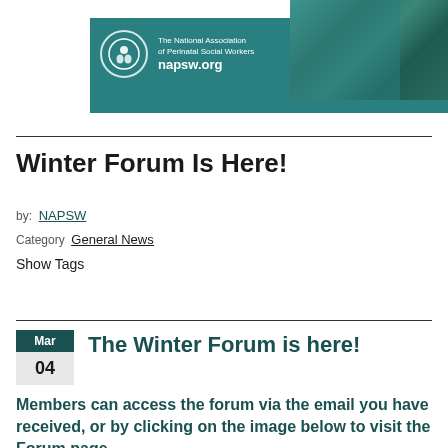[Figure (logo): NAPSW organization banner with teal background, circular logo, text 'The National Association of Perinatal Social Workers napsw.org', and a photo of a waterfront scene]
Winter Forum Is Here!
by: NAPSW
Category: General News
Show Tags
The Winter Forum is here!
Members can access the forum via the email you have received, or by clicking on the image below to visit the Forum page.